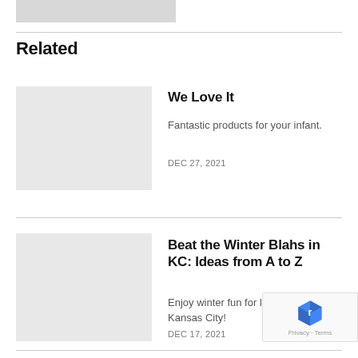[Figure (photo): Partial cropped photo at top of page, showing person in light clothing]
Related
We Love It
Fantastic products for your infant.
DEC 27, 2021
Beat the Winter Blahs in KC: Ideas from A to Z
Enjoy winter fun for little ones in Kansas City!
DEC 17, 2021